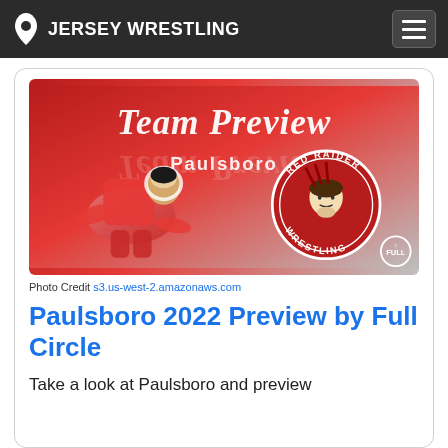JERSEY WRESTLING
[Figure (photo): Team Preview banner for Paulsboro wrestling team. Red gradient background with a wrestler in red singlet and headgear in a crouched stance. Text reads 'Team Preview' and 'Paulsboro'. Red Raider Wrestling circular logo on the right.]
Photo Credit s3.us-west-2.amazonaws.com
Paulsboro 2022 Preview by Full Circle
Take a look at Paulsboro and preview